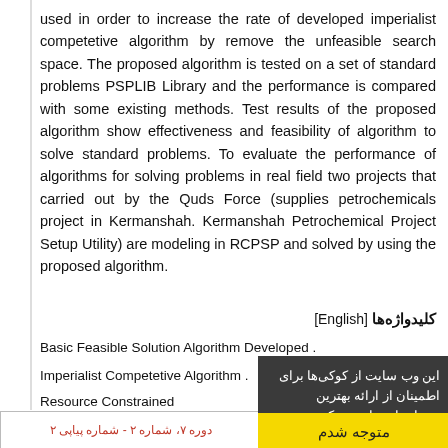used in order to increase the rate of developed imperialist competetive algorithm by remove the unfeasible search space. The proposed algorithm is tested on a set of standard problems PSPLIB Library and the performance is compared with some existing methods. Test results of the proposed algorithm show effectiveness and feasibility of algorithm to solve standard problems. To evaluate the performance of algorithms for solving problems in real field two projects that carried out by the Quds Force (supplies petrochemicals project in Kermanshah. Kermanshah Petrochemical Project Setup Utility) are modeling in RCPSP and solved by using the proposed algorithm.
کلیدواژه‌ها [English]
Basic Feasible Solution Algorithm Developed .
Imperialist Competetive Algorithm .  Project management .
Resource Constrained...
این وب سایت از کوکی‌ها برای اطمینان از ارائه بهترین خدمات استفاده می‌کند.
متوجه شدم
دوره 7، شماره 2 - شماره پیاپی 2